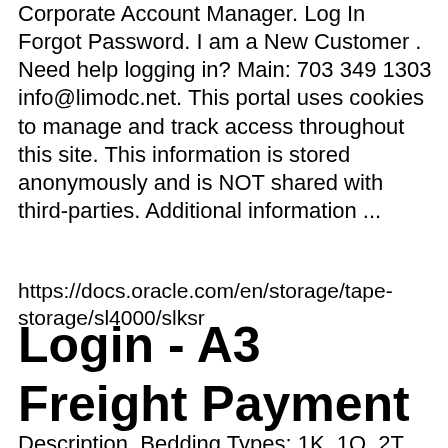Corporate Account Manager. Log In Forgot Password. I am a New Customer . Need help logging in? Main: 703 349 1303 info@limodc.net. This portal uses cookies to manage and track access throughout this site. This information is stored anonymously and is NOT shared with third-parties. Additional information ...
https://docs.oracle.com/en/storage/tape-storage/sl4000/slksr
Login - A3 Freight Payment
Description. Bedding Types: 1K, 1Q, 2T. Fabulous Ocean and beach view from this oceanfront condo! This condominium features 2 bedrooms, 2.5 bathrooms and 2